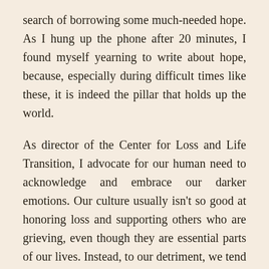search of borrowing some much-needed hope. As I hung up the phone after 20 minutes, I found myself yearning to write about hope, because, especially during difficult times like these, it is indeed the pillar that holds up the world.
As director of the Center for Loss and Life Transition, I advocate for our human need to acknowledge and embrace our darker emotions. Our culture usually isn't so good at honoring loss and supporting others who are grieving, even though they are essential parts of our lives. Instead, to our detriment, we tend to focus almost exclusively on the happy and the distracting and the fun.